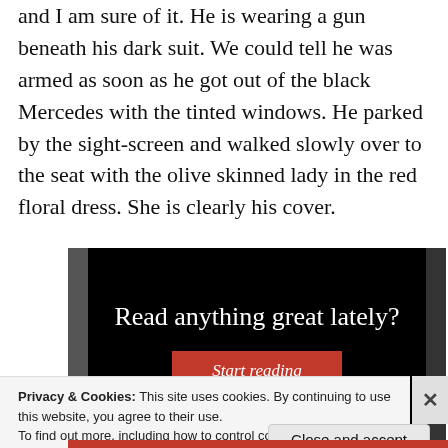and I am sure of it. He is wearing a gun beneath his dark suit. We could tell he was armed as soon as he got out of the black Mercedes with the tinted windows. He parked by the sight-screen and walked slowly over to the seat with the olive skinned lady in the red floral dress. She is clearly his cover.
[Figure (screenshot): Black advertisement banner with white text reading 'Read anything great lately?' and a red 'Start reading' button]
Privacy & Cookies: This site uses cookies. By continuing to use this website, you agree to their use.
To find out more, including how to control cookies, see here: Cookie Policy
Close and accept